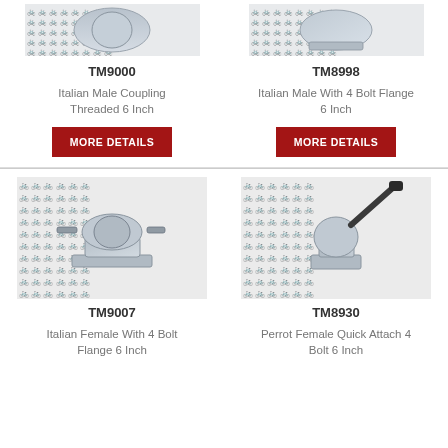[Figure (photo): Top portion of Italian Male Coupling Threaded 6 Inch product image (TM9000)]
[Figure (photo): Top portion of Italian Male With 4 Bolt Flange 6 Inch product image (TM8998)]
TM9000
Italian Male Coupling Threaded 6 Inch
MORE DETAILS
TM8998
Italian Male With 4 Bolt Flange 6 Inch
MORE DETAILS
[Figure (photo): Italian Female With 4 Bolt Flange 6 Inch product image (TM9007)]
[Figure (photo): Perrot Female Quick Attach 4 Bolt 6 Inch product image (TM8930)]
TM9007
Italian Female With 4 Bolt Flange 6 Inch
TM8930
Perrot Female Quick Attach 4 Bolt 6 Inch